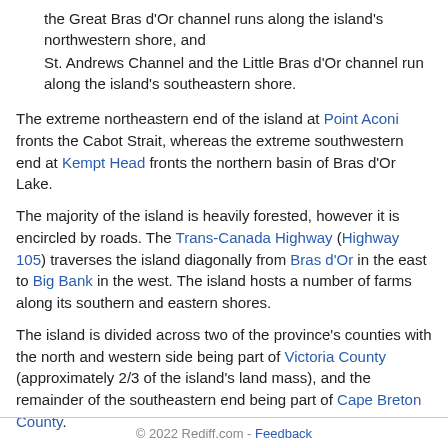the Great Bras d'Or channel runs along the island's northwestern shore, and
St. Andrews Channel and the Little Bras d'Or channel run along the island's southeastern shore.
The extreme northeastern end of the island at Point Aconi fronts the Cabot Strait, whereas the extreme southwestern end at Kempt Head fronts the northern basin of Bras d'Or Lake.
The majority of the island is heavily forested, however it is encircled by roads. The Trans-Canada Highway (Highway 105) traverses the island diagonally from Bras d'Or in the east to Big Bank in the west. The island hosts a number of farms along its southern and eastern shores.
The island is divided across two of the province's counties with the north and western side being part of Victoria County (approximately 2/3 of the island's land mass), and the remainder of the southeastern end being part of Cape Breton County.
The northern end of the island in the community of Point Aconi has been...
Read More
© 2022 Rediff.com - Feedback